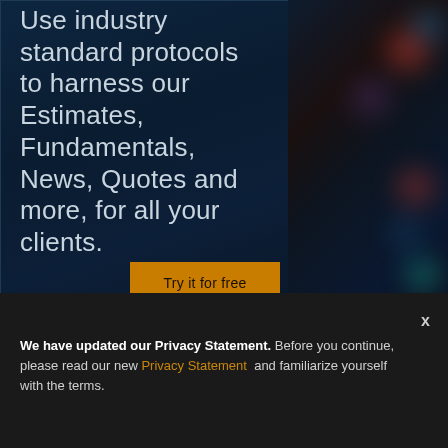[Figure (screenshot): Dark blue financial data platform webpage screenshot showing a marketing panel with text and CTA button on the left, and blurred bokeh data display on the right]
Use industry standard protocols to harness our Estimates, Fundamentals, News, Quotes and more, for all your clients.
Try it for free
We have updated our Privacy Statement. Before you continue, please read our new Privacy Statement and familiarize yourself with the terms.